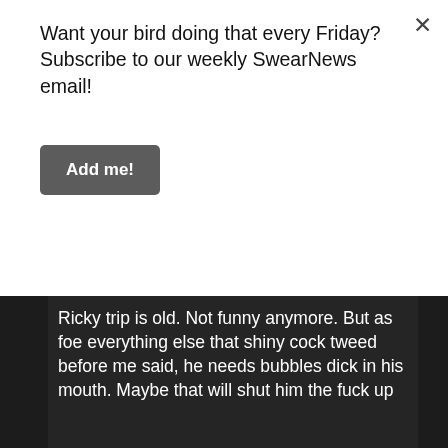Want your bird doing that every Friday? Subscribe to our weekly SwearNews email!
Add me!
Ricky trip is old. Not funny anymore. But as foe everything else that shiny cock tweed before me said, he needs bubbles dick in his mouth. Maybe that will shut him the fuck up
Oh and to whoever said that about Swearnet score on Rotten Tomatoes or whatever, comedy never gets good ratings. You normally only see drama and some